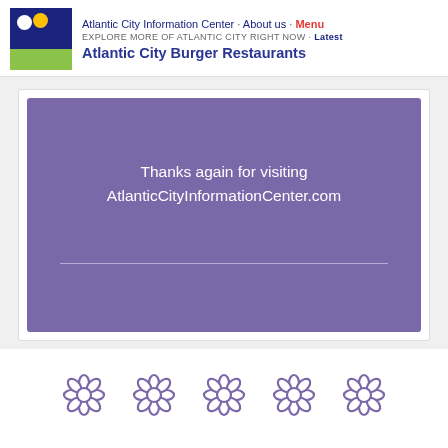Atlantic City Information Center · About us · Menu | EXPLORE MORE OF ATLANTIC CITY RIGHT NOW · Latest | Atlantic City Burger Restaurants
[Figure (other): Purple banner card with white text: Thanks again for visiting AtlanticCityInformationCenter.com, with a horizontal white divider line below]
[Figure (illustration): Five decorative flower/daisy icons in a row, rendered in purple outline style]